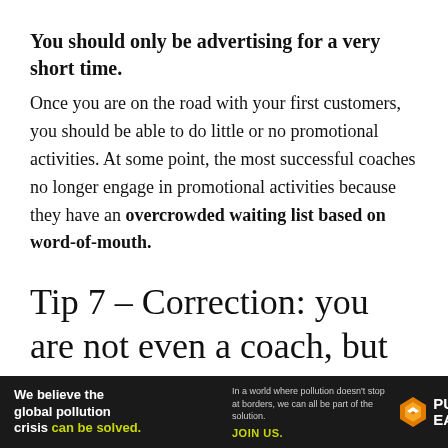You should only be advertising for a very short time.
Once you are on the road with your first customers, you should be able to do little or no promotional activities. At some point, the most successful coaches no longer engage in promotional activities because they have an overcrowded waiting list based on word-of-mouth.
Tip 7 – Correction: you are not even a coach, but you
[Figure (other): Pure Earth advertisement banner: black background with text 'We believe the global pollution crisis can be solved.' and 'In a world where pollution doesn't stop at borders, we can all be part of the solution. JOIN US.' alongside the Pure Earth logo with orange diamond icon.]